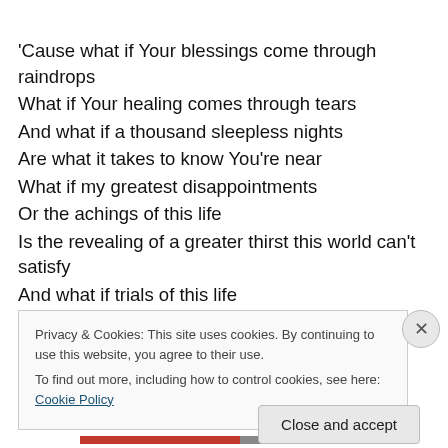'Cause what if Your blessings come through raindrops
What if Your healing comes through tears
And what if a thousand sleepless nights
Are what it takes to know You're near
What if my greatest disappointments
Or the achings of this life
Is the revealing of a greater thirst this world can't satisfy
And what if trials of this life
The rain, the storms, the hardest nights
Privacy & Cookies: This site uses cookies. By continuing to use this website, you agree to their use.
To find out more, including how to control cookies, see here: Cookie Policy
Close and accept